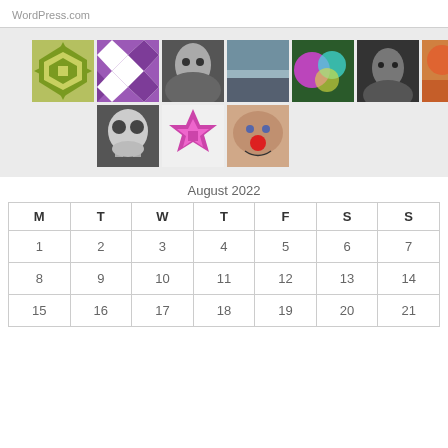WordPress.com
[Figure (illustration): A grid of avatar/profile images including geometric patterns, portraits, and artistic photos arranged in two rows]
August 2022
| M | T | W | T | F | S | S |
| --- | --- | --- | --- | --- | --- | --- |
| 1 | 2 | 3 | 4 | 5 | 6 | 7 |
| 8 | 9 | 10 | 11 | 12 | 13 | 14 |
| 15 | 16 | 17 | 18 | 19 | 20 | 21 |